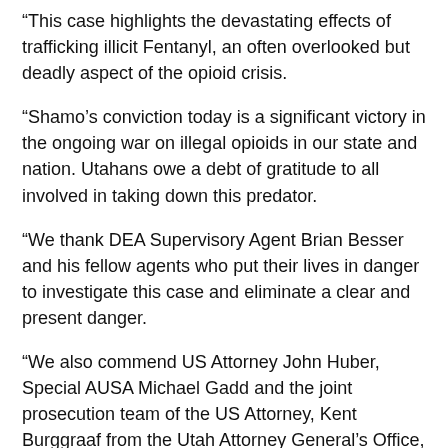“This case highlights the devastating effects of trafficking illicit Fentanyl, an often overlooked but deadly aspect of the opioid crisis.
“Shamo’s conviction today is a significant victory in the ongoing war on illegal opioids in our state and nation. Utahans owe a debt of gratitude to all involved in taking down this predator.
“We thank DEA Supervisory Agent Brian Besser and his fellow agents who put their lives in danger to investigate this case and eliminate a clear and present danger.
“We also commend US Attorney John Huber, Special AUSA Michael Gadd and the joint prosecution team of the US Attorney, Kent Burggraaf from the Utah Attorney General’s Office, the FDA, Homeland Security, IRS-Criminal Investigation and Postal Inspectors.